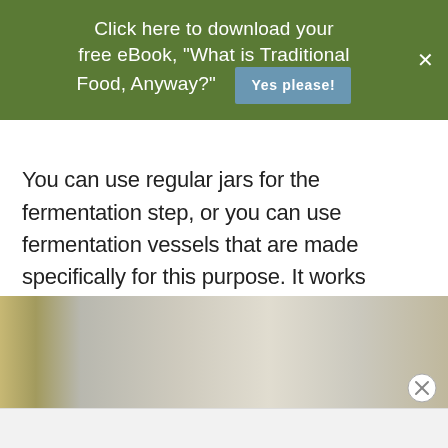Click here to download your free eBook, "What is Traditional Food, Anyway?"
Yes please!
You can use regular jars for the fermentation step, or you can use fermentation vessels that are made specifically for this purpose. It works equally well in either.
[Figure (photo): Partial view of fermentation jars or vessels, blurry/cropped at bottom of page]